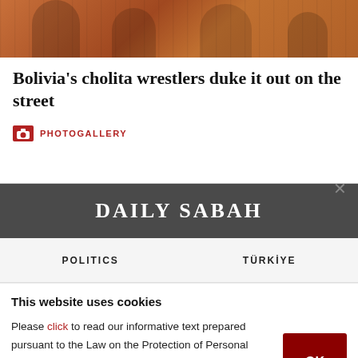[Figure (photo): Top strip showing partial photo of cholita wrestlers in colorful traditional clothing, orange/red tones]
Bolivia's cholita wrestlers duke it out on the street
PHOTOGALLERY
DAILY SABAH
POLITICS   TÜRKİYE
This website uses cookies
Please click to read our informative text prepared pursuant to the Law on the Protection of Personal Data No. 6698 and to get information about the cookies used on our